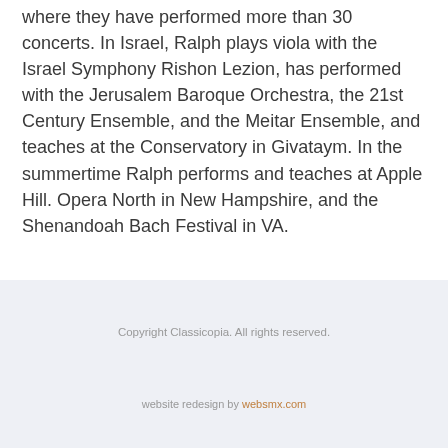where they have performed more than 30 concerts. In Israel, Ralph plays viola with the Israel Symphony Rishon Lezion, has performed with the Jerusalem Baroque Orchestra, the 21st Century Ensemble, and the Meitar Ensemble, and teaches at the Conservatory in Givataym. In the summertime Ralph performs and teaches at Apple Hill. Opera North in New Hampshire, and the Shenandoah Bach Festival in VA.
Copyright Classicopia. All rights reserved.
website redesign by websmx.com